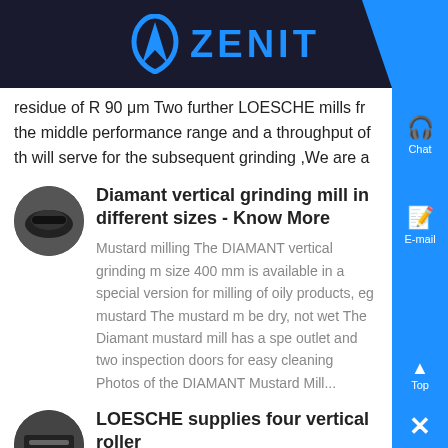ZENIT
residue of R 90 μm Two further LOESCHE mills fr the middle performance range and a throughput of th will serve for the subsequent grinding ,We are a
Diamant vertical grinding mill in different sizes - Know More
Mustard milling The DIAMANT vertical grinding m size 400 mm is available in a special version for milling of oily products, eg mustard The mustard m be dry, not wet The Diamant mustard mill has a spe outlet and two inspection doors for easy cleaning Photos of the DIAMANT Mustard Mill...
LOESCHE supplies four vertical roller mills VRM for - Know More